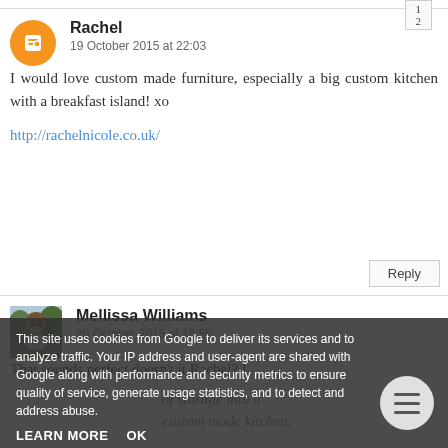Reply
Rachel
19 October 2015 at 22:03
I would love custom made furniture, especially a big custom kitchen with a breakfast island! xo
http://rachelnicole.co.uk/
Reply
Mellissa Williams
20 October 2015 at 16:55
That sounds perfect doesn't it Rachel? I
This site uses cookies from Google to deliver its services and to analyze traffic. Your IP address and user-agent are shared with Google along with performance and security metrics to ensure quality of service, generate usage statistics, and to detect and address abuse.
LEARN MORE
OK